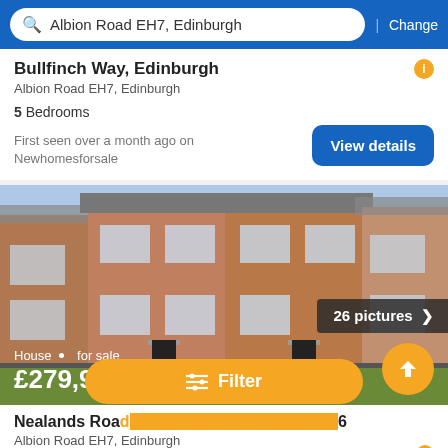Albion Road EH7, Edinburgh | Change
Bullfinch Way, Edinburgh
Albion Road EH7, Edinburgh
5 Bedrooms
First seen over a month ago on Newhomesforsale
[Figure (photo): Terrace of brick houses for sale, showing two-storey residential properties with grey slate roofs and black front doors]
26 pictures
House · for sale
£279,995
Nealands Road The Wisp, Edinburgh, EH16
Albion Road EH7, Edinburgh